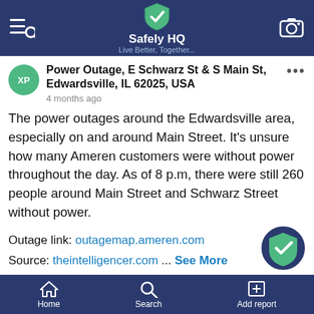Safely HQ – Live Better, Together...
Power Outage, E Schwarz St & S Main St, Edwardsville, IL 62025, USA
4 months ago
The power outages around the Edwardsville area, especially on and around Main Street. It's unsure how many Ameren customers were without power throughout the day. As of 8 p.m, there were still 260 people around Main Street and Schwarz Street without power.
Outage link: outagemap.ameren.com
Source: theintelligencer.com ... See More
#poweroutage #edwardsville #illinois #unitedstates
Home  Search  Add report